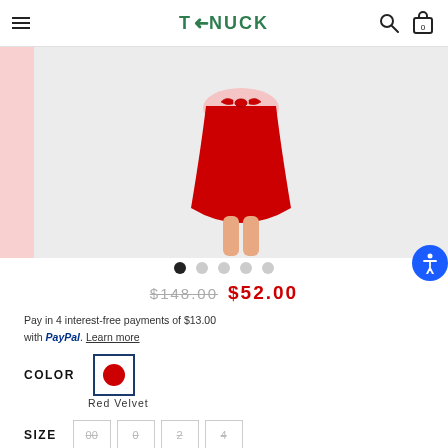TYNUCK
[Figure (photo): Product photo of a red dress/skirt on a model, partially visible from waist down, with a pink color swatch thumbnail on the left side]
$148.00 $52.00
Pay in 4 interest-free payments of $13.00 with PayPal. Learn more
COLOR
Red Velvet
SIZE